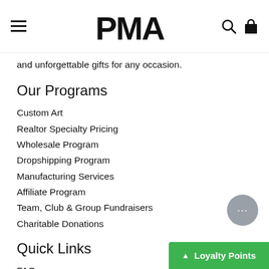PMA
and unforgettable gifts for any occasion.
Our Programs
Custom Art
Realtor Specialty Pricing
Wholesale Program
Dropshipping Program
Manufacturing Services
Affiliate Program
Team, Club & Group Fundraisers
Charitable Donations
Quick Links
FAQs
Rewards Program
Blog
About Us